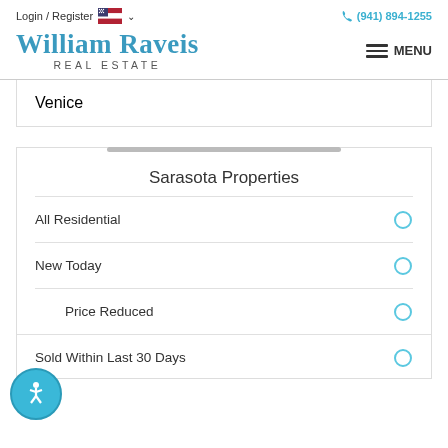Login / Register  (941) 894-1255
William Raveis Real Estate
Venice
Sarasota Properties
All Residential
New Today
Price Reduced
Sold Within Last 30 Days